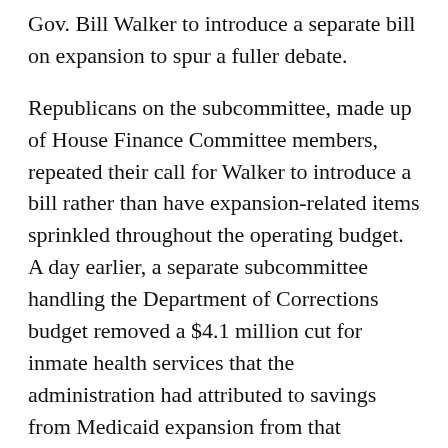Gov. Bill Walker to introduce a separate bill on expansion to spur a fuller debate.
Republicans on the subcommittee, made up of House Finance Committee members, repeated their call for Walker to introduce a bill rather than have expansion-related items sprinkled throughout the operating budget. A day earlier, a separate subcommittee handling the Department of Corrections budget removed a $4.1 million cut for inmate health services that the administration had attributed to savings from Medicaid expansion from that agency's budget because expansion has not been accepted yet.
Subcommittee recommendations will be considered as House Finance puts together its version of the